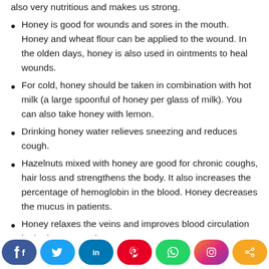also very nutritious and makes us strong.
Honey is good for wounds and sores in the mouth.  Honey and wheat flour can be applied to the wound.  In the olden days, honey is also used in ointments to heal wounds.
For cold, honey should be taken in combination with hot milk (a large spoonful of honey per glass of milk).  You can also take honey with lemon.
Drinking honey water relieves sneezing and reduces cough.
Hazelnuts mixed with honey are good for chronic coughs, hair loss and strengthens the body.  It also increases the percentage of hemoglobin in the blood. Honey decreases the mucus in patients.
Honey relaxes the veins and improves blood circulation in the heart vessels.
Taking an average of 70 grams for 45 days will...